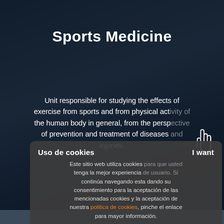Sports Medicine
Unit responsible for studying the effects of exercise from sports and from physical activity of the human body in general, from the perspective of prevention and treatment of diseases and injuries.
[Figure (screenshot): Cookie consent popup overlay in Spanish with title 'Uso de cookies', body text explaining cookies, an orange link 'politica de cookies', and an ACEPTAR button]
Uso de cookies   I want
Este sitio web utiliza cookies para que usted tenga la mejor experiencia de usuario. Si continúa navegando esta dando su consentimiento para la aceptación de las mencionadas cookies y la aceptación de nuestra politica de cookies, pinche el enlace para mayor información.
ACEPTAR